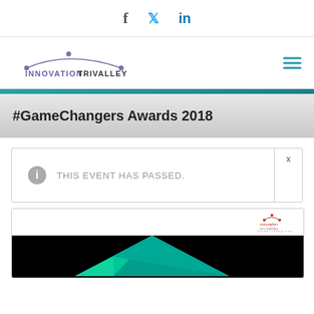Social media icons: Facebook, Twitter, LinkedIn
[Figure (logo): Innovation TriValley logo with connected nodes arc above text]
#GameChangers Awards 2018
THIS EVENT HAS PASSED.
[Figure (photo): Event promotional image with green/teal triangle pyramid shape on black background, Innovation Tri-Valley Leadership Group logo in upper right corner]